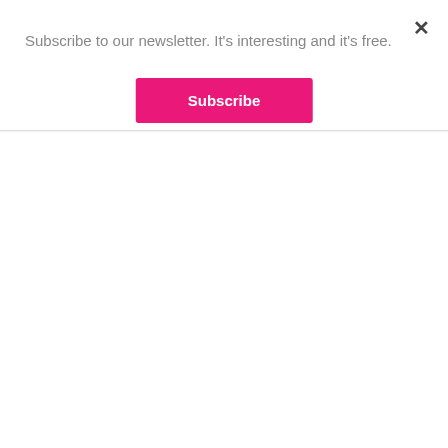Subscribe to our newsletter. It's interesting and it's free.
Subscribe
×